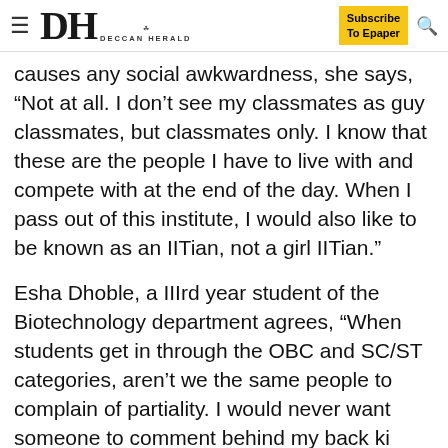DH DECCAN HERALD | Subscribe To Epaper
causes any social awkwardness, she says, “Not at all. I don’t see my classmates as guy classmates, but classmates only. I know that these are the people I have to live with and compete with at the end of the day. When I pass out of this institute, I would also like to be known as an IITian, not a girl IITian.”
Esha Dhoble, a IIIrd year student of the Biotechnology department agrees, “When students get in through the OBC and SC/ST categories, aren’t we the same people to complain of partiality. I would never want someone to comment behind my back ki ladkiyon ka to ho hi jata hai.”
Professor Suhail Ahmad, HOD, Applied Mechanics,  says, “This proposal has not been discussed with us as yet, but